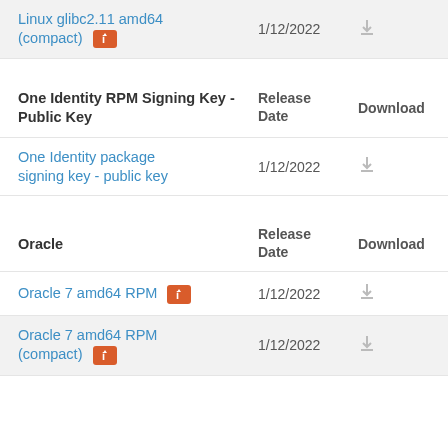|  | Release Date | Download |
| --- | --- | --- |
| Linux glibc2.11 amd64 (compact) [i] | 1/12/2022 | ↓ |
| One Identity RPM Signing Key - Public Key | Release Date | Download |
| --- | --- | --- |
| One Identity package signing key - public key | 1/12/2022 | ↓ |
| Oracle | Release Date | Download |
| --- | --- | --- |
| Oracle 7 amd64 RPM [i] | 1/12/2022 | ↓ |
| Oracle 7 amd64 RPM (compact) [i] | 1/12/2022 | ↓ |